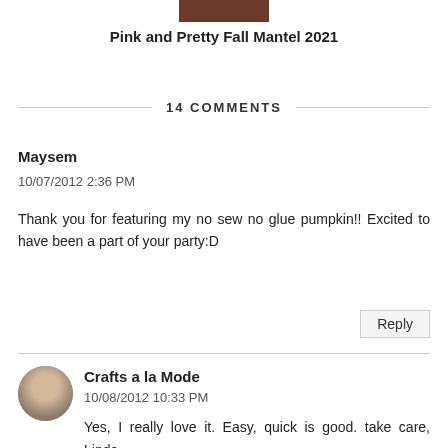[Figure (photo): Small thumbnail image of a fall mantel decoration with warm brown tones]
Pink and Pretty Fall Mantel 2021
14 COMMENTS
Maysem
10/07/2012 2:36 PM
Thank you for featuring my no sew no glue pumpkin!! Excited to have been a part of your party:D
Reply
[Figure (photo): Circular avatar image of a woman with short hair]
Crafts a la Mode
10/08/2012 10:33 PM
Yes, I really love it. Easy, quick is good. take care, Linda